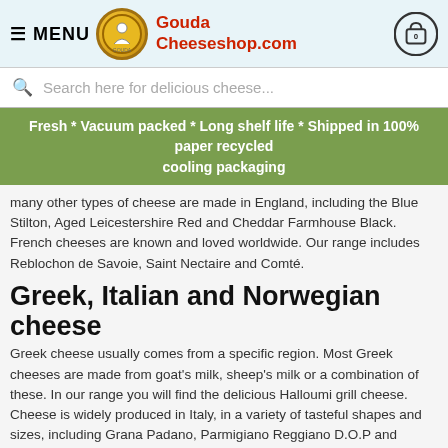≡ MENU | Gouda Cheeseshop.com
Search here for delicious cheese...
Fresh * Vacuum packed * Long shelf life * Shipped in 100% paper recycled cooling packaging
many other types of cheese are made in England, including the Blue Stilton, Aged Leicestershire Red and Cheddar Farmhouse Black. French cheeses are known and loved worldwide. Our range includes Reblochon de Savoie, Saint Nectaire and Comté.
Greek, Italian and Norwegian cheese
Greek cheese usually comes from a specific region. Most Greek cheeses are made from goat's milk, sheep's milk or a combination of these. In our range you will find the delicious Halloumi grill cheese. Cheese is widely produced in Italy, in a variety of tasteful shapes and sizes, including Grana Padano, Parmigiano Reggiano D.O.P and Pecorino Romano. Norwegian cheese may not be very well known, but it is very tasty. Norwegian cheese tastes different from other cheeses